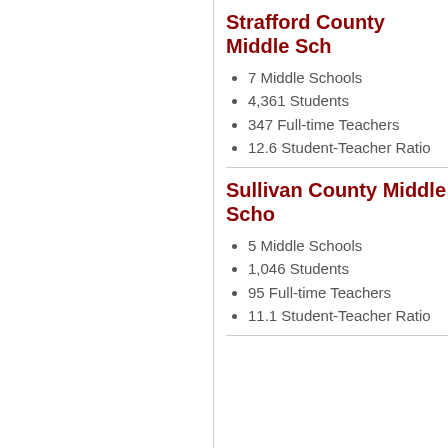Strafford County Middle Sch…
7 Middle Schools
4,361 Students
347 Full-time Teachers
12.6 Student-Teacher Ratio
Sullivan County Middle Scho…
5 Middle Schools
1,046 Students
95 Full-time Teachers
11.1 Student-Teacher Ratio